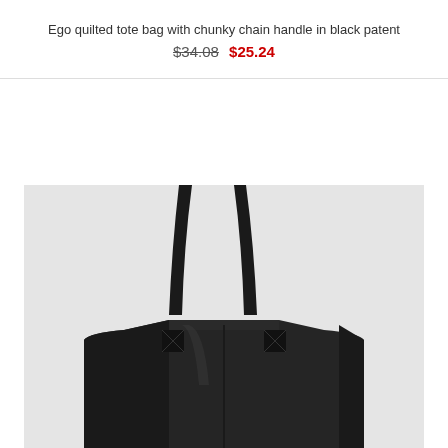Ego quilted tote bag with chunky chain handle in black patent
$34.08  $25.24
[Figure (photo): Black patent tote bag with long handles on a light gray background, showing the top portion of the bag with straps]